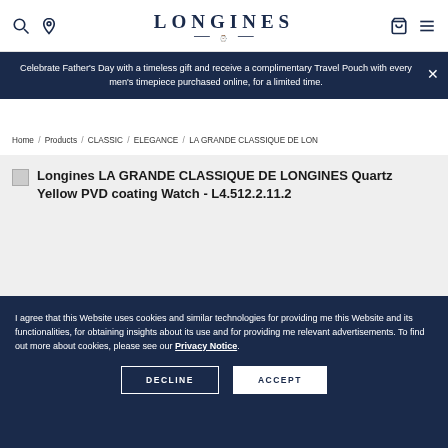LONGINES
Celebrate Father's Day with a timeless gift and receive a complimentary Travel Pouch with every men's timepiece purchased online, for a limited time.
Home / Products / CLASSIC / ELEGANCE / LA GRANDE CLASSIQUE DE LON
[Figure (screenshot): Broken image placeholder for Longines LA GRANDE CLASSIQUE DE LONGINES Quartz Yellow PVD coating Watch - L4.512.2.11.2]
I agree that this Website uses cookies and similar technologies for providing me this Website and its functionalities, for obtaining insights about its use and for providing me relevant advertisements. To find out more about cookies, please see our Privacy Notice.
DECLINE ACCEPT